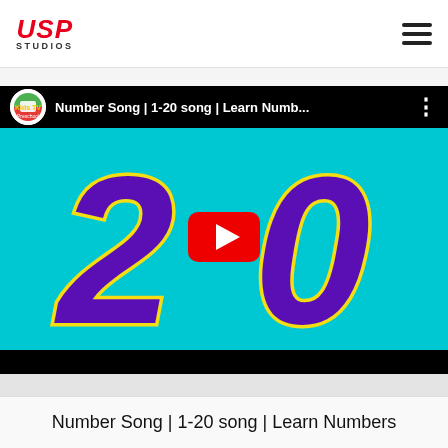[Figure (logo): USP Studios logo with red bold italic USP text and STUDIOS below]
[Figure (screenshot): YouTube video embed showing 'Number Song | 1-20 song | Learn Numb...' with Kids TV Preschool channel avatar, large purple '20' on cyan background, red YouTube play button in center, black bars top and bottom]
Number Song | 1-20 song | Learn Numbers